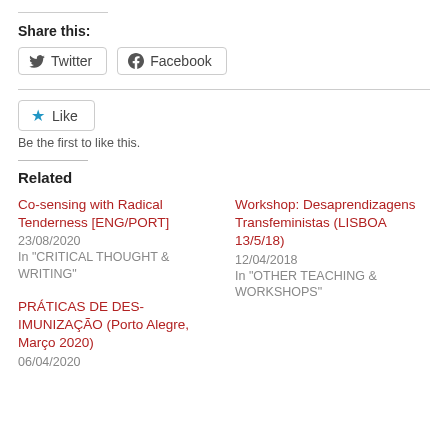Share this:
Twitter  Facebook
Like  Be the first to like this.
Related
Co-sensing with Radical Tenderness [ENG/PORT]
23/08/2020
In "CRITICAL THOUGHT & WRITING"
Workshop: Desaprendizagens Transfeministas (LISBOA 13/5/18)
12/04/2018
In "OTHER TEACHING & WORKSHOPS"
PRÁTICAS DE DES-IMUNIZAÇÃO (Porto Alegre, Março 2020)
06/04/2020